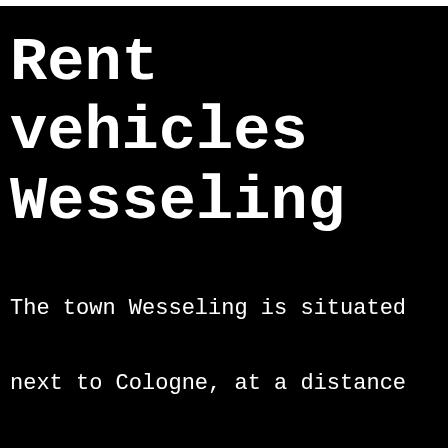Rent vehicles in Wesseling
The town Wesseling is situated next to Cologne, at a distance of solely 11,94 kilometres.